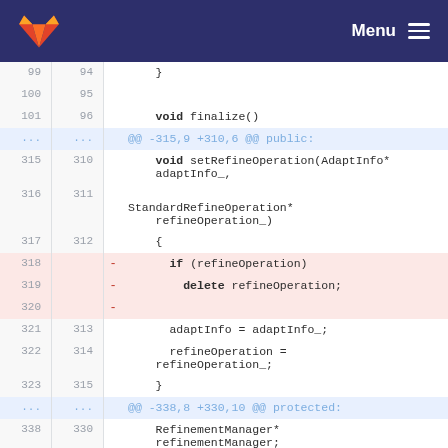[Figure (screenshot): GitLab header with logo and Menu button]
Code diff viewer showing lines 99-338 of a C++ file with removed lines 318-320 showing deletion of refineOperation pointer check and delete statement
GitLab Menu